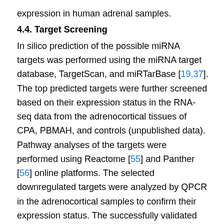expression in human adrenal samples.
4.4. Target Screening
In silico prediction of the possible miRNA targets was performed using the miRNA target database, TargetScan, and miRTarBase [19,37]. The top predicted targets were further screened based on their expression status in the RNA-seq data from the adrenocortical tissues of CPA, PBMAH, and controls (unpublished data). Pathway analyses of the targets were performed using Reactome [55] and Panther [56] online platforms. The selected downregulated targets were analyzed by QPCR in the adrenocortical samples to confirm their expression status. The successfully validated candidates were then analyzed for regulation by the miRNA using a dual luciferase assay [57].
4.5. Dual Luciferase Assay